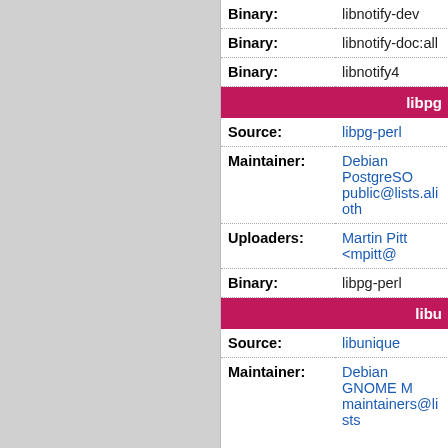| Binary: | libnotify-dev | p
re |
| Binary: | libnotify-doc:all | p
re |
| Binary: | libnotify4 | p
re |
| [section] | libpg |
| Source: | libpg-perl | p
s |
| Maintainer: | Debian PostgreSO public@lists.alioth |  |
| Uploaders: | Martin Pitt <mpitt@ |  |
| Binary: | libpg-perl | p
re |
| [section] | libu |
| Source: | libunique | p
s |
| Maintainer: | Debian GNOME M maintainers@lists |  |